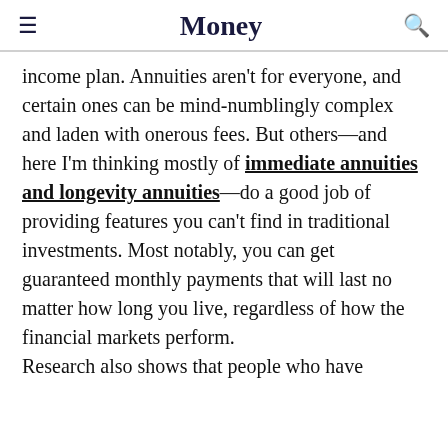Money
income plan. Annuities aren't for everyone, and certain ones can be mind-numblingly complex and laden with onerous fees. But others—and here I'm thinking mostly of immediate annuities and longevity annuities—do a good job of providing features you can't find in traditional investments. Most notably, you can get guaranteed monthly payments that will last no matter how long you live, regardless of how the financial markets perform.

Research also shows that people who have